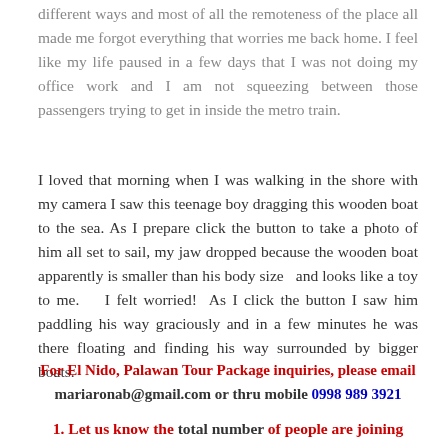different ways and most of all the remoteness of the place all made me forgot everything that worries me back home. I feel like my life paused in a few days that I was not doing my office work and I am not squeezing between those passengers trying to get in inside the metro train.
I loved that morning when I was walking in the shore with my camera I saw this teenage boy dragging this wooden boat to the sea. As I prepare click the button to take a photo of him all set to sail, my jaw dropped because the wooden boat apparently is smaller than his body size  and looks like a toy to me.   I felt worried!  As I click the button I saw him paddling his way graciously and in a few minutes he was there floating and finding his way surrounded by bigger boats.
For El Nido, Palawan Tour Package inquiries, please email mariaronab@gmail.com or thru mobile 0998 989 3921
1. Let us know the total number of people are joining